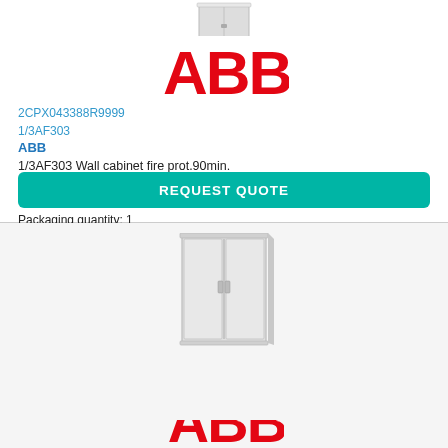[Figure (illustration): Small partially visible wall cabinet product photo at top of first card]
[Figure (logo): ABB red logo]
2CPX043388R9999
1/3AF303
ABB
1/3AF303 Wall cabinet fire prot.90min.
Automation / Automation / Automation
Minimum order quantity: 1
Packaging quantity: 1
Lead time: On request
REQUEST QUOTE
[Figure (illustration): Wall cabinet product photo - full view, gray metal cabinet with two doors and center latch]
[Figure (logo): ABB red logo partially visible at bottom]